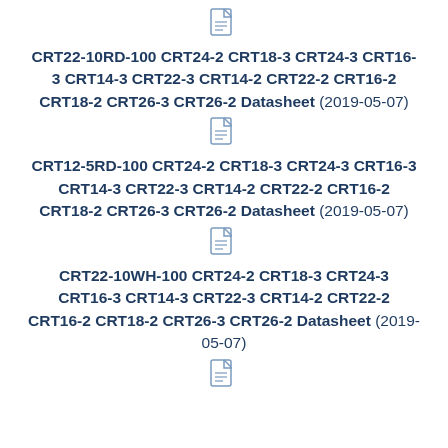[Figure (other): PDF file icon]
CRT22-10RD-100 CRT24-2 CRT18-3 CRT24-3 CRT16-3 CRT14-3 CRT22-3 CRT14-2 CRT22-2 CRT16-2 CRT18-2 CRT26-3 CRT26-2 Datasheet (2019-05-07)
[Figure (other): PDF file icon]
CRT12-5RD-100 CRT24-2 CRT18-3 CRT24-3 CRT16-3 CRT14-3 CRT22-3 CRT14-2 CRT22-2 CRT16-2 CRT18-2 CRT26-3 CRT26-2 Datasheet (2019-05-07)
[Figure (other): PDF file icon]
CRT22-10WH-100 CRT24-2 CRT18-3 CRT24-3 CRT16-3 CRT14-3 CRT22-3 CRT14-2 CRT22-2 CRT16-2 CRT18-2 CRT26-3 CRT26-2 Datasheet (2019-05-07)
[Figure (other): PDF file icon]